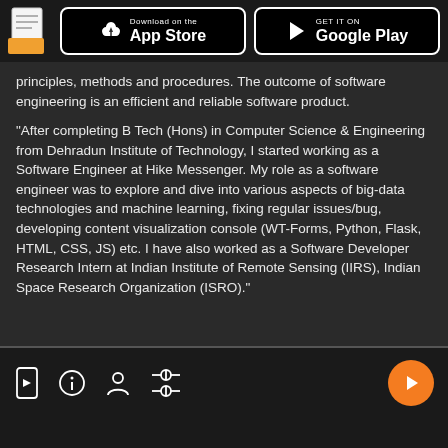Download on the App Store  GET IT ON Google Play
principles, methods and procedures. The outcome of software engineering is an efficient and reliable software product.
"After completing B Tech (Hons) in Computer Science & Engineering from Dehradun Institute of Technology, I started working as a Software Engineer at Hike Messenger. My role as a software engineer was to explore and dive into various aspects of big-data technologies and machine learning, fixing regular issues/bug, developing content visualization console (WT-Forms, Python, Flask, HTML, CSS, JS) etc. I have also worked as a Software Developer Research Intern at Indian Institute of Remote Sensing (IIRS), Indian Space Research Organization (ISRO)."
toolbar icons: video, info, person, settings, play